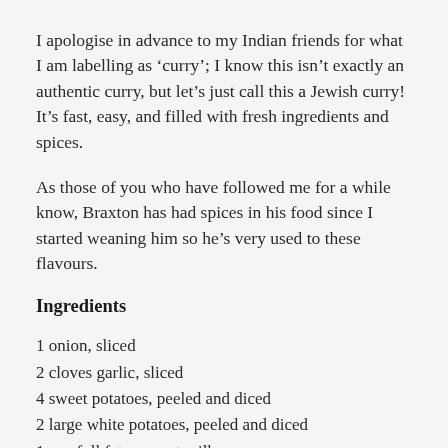I apologise in advance to my Indian friends for what I am labelling as ‘curry’; I know this isn’t exactly an authentic curry, but let’s just call this a Jewish curry! It’s fast, easy, and filled with fresh ingredients and spices.
As those of you who have followed me for a while know, Braxton has had spices in his food since I started weaning him so he’s very used to these flavours.
Ingredients
1 onion, sliced
2 cloves garlic, sliced
4 sweet potatoes, peeled and diced
2 large white potatoes, peeled and diced
1 can full fat coconut milk
1 cup organic vegetable stock
Half tsp garam masala
Half tsp curry powder